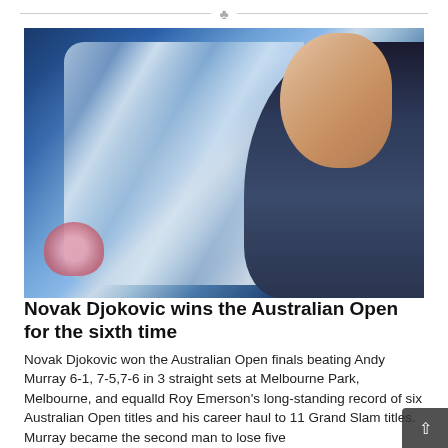♣
[Figure (photo): Novak Djokovic kissing the Australian Open trophy (Norman Brookes Challenge Cup), a large silver decorative cup, wearing a dark blue jacket. Close-up shot against dark background.]
Novak Djokovic wins the Australian Open for the sixth time
Novak Djokovic won the Australian Open finals beating Andy Murray 6-1, 7-5,7-6 in 3 straight sets at Melbourne Park, Melbourne, and equalld Roy Emerson's long-standing record of six Australian Open titles and his career haul to 11 Grand Slam titles. Murray became the second man to lose five